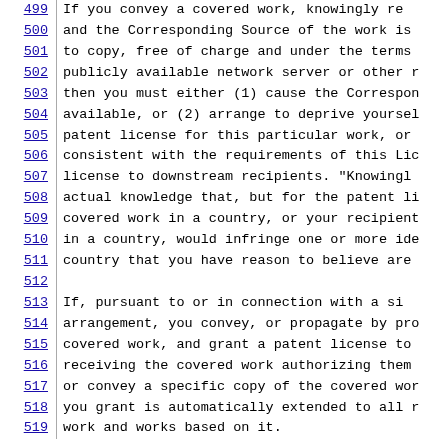499   If you convey a covered work, knowingly re
500   and the Corresponding Source of the work is
501   to copy, free of charge and under the terms
502   publicly available network server or other r
503   then you must either (1) cause the Correspon
504   available, or (2) arrange to deprive yoursel
505   patent license for this particular work, or
506   consistent with the requirements of this Lic
507   license to downstream recipients.  "Knowingl
508   actual knowledge that, but for the patent li
509   covered work in a country, or your recipient
510   in a country, would infringe one or more ide
511   country that you have reason to believe are
512   (blank)
513   If, pursuant to or in connection with a si
514   arrangement, you convey, or propagate by pro
515   covered work, and grant a patent license to
516   receiving the covered work authorizing them
517   or convey a specific copy of the covered wor
518   you grant is automatically extended to all r
519   work and works based on it.